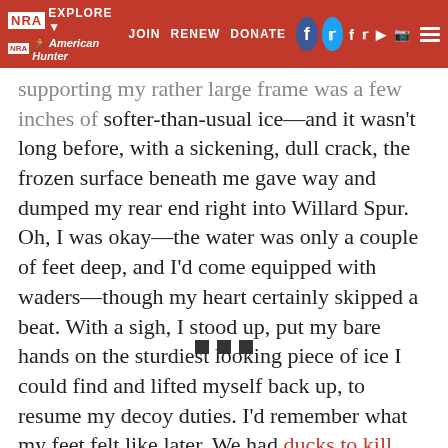NRA EXPLORE JOIN RENEW DONATE American Hunter
supporting my rather large frame was a few inches of softer-than-usual ice—and it wasn't long before, with a sickening, dull crack, the frozen surface beneath me gave way and dumped my rear end right into Willard Spur. Oh, I was okay—the water was only a couple of feet deep, and I'd come equipped with waders—though my heart certainly skipped a beat. With a sigh, I stood up, put my bare hands on the sturdiest looking piece of ice I could find and lifted myself back up, to resume my decoy duties. I'd remember what my feet felt like later. We had ducks to kill.
■ ■ ■